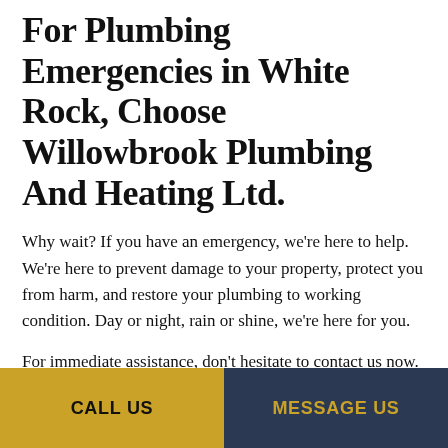For Plumbing Emergencies in White Rock, Choose Willowbrook Plumbing And Heating Ltd.
Why wait? If you have an emergency, we're here to help. We're here to prevent damage to your property, protect you from harm, and restore your plumbing to working condition. Day or night, rain or shine, we're here for you.
For immediate assistance, don't hesitate to contact us now. Our team will be happy to answer your questions, dispatch a technician, and give you some support over the phone.
CALL US | MESSAGE US